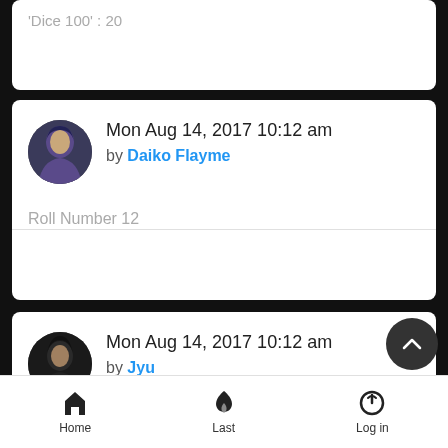'Dice 100' : 20
Mon Aug 14, 2017 10:12 am by Daiko Flayme
Roll Number 12
Mon Aug 14, 2017 10:12 am by Jyu
The member 'Hyōen' has done the following action : Spin
'Dice 100' : 91
Home   Last   Log in